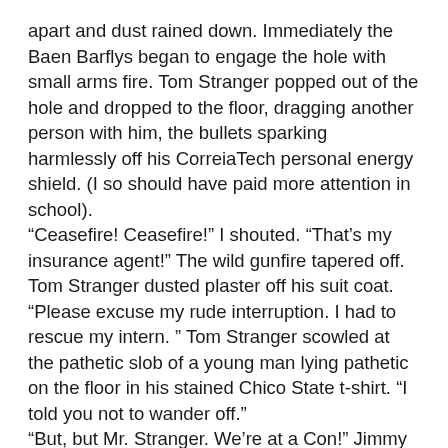apart and dust rained down. Immediately the Baen Barflys began to engage the hole with small arms fire. Tom Stranger popped out of the hole and dropped to the floor, dragging another person with him, the bullets sparking harmlessly off his CorreiaTech personal energy shield. (I so should have paid more attention in school).
“Ceasefire! Ceasefire!” I shouted. “That’s my insurance agent!” The wild gunfire tapered off.
Tom Stranger dusted plaster off his suit coat. “Please excuse my rude interruption. I had to rescue my intern.” Tom Stranger scowled at the pathetic slob of a young man lying pathetic on the floor in his stained Chico State t-shirt. “I told you not to wander off.”
“But, but Mr. Stranger. We’re at a Con!” Jimmy pleaded. “There are girls. In costume… Girls in costume!” Tom Stranger didn’t respond. “Chain mail bikinis, leather corsets, and Princess Leia